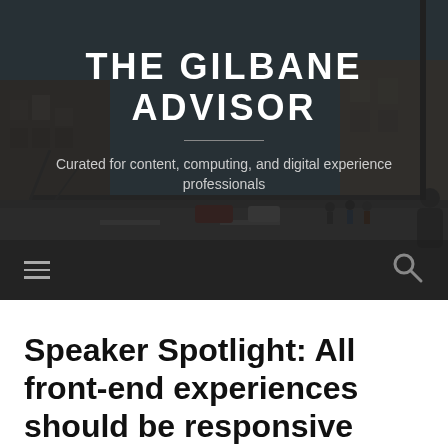[Figure (photo): A city street scene showing a bridge, pedestrians walking, cars, and buildings under a blue sky — the background photo for The Gilbane Advisor website header.]
THE GILBANE ADVISOR
Curated for content, computing, and digital experience professionals
Speaker Spotlight: All front-end experiences should be responsive